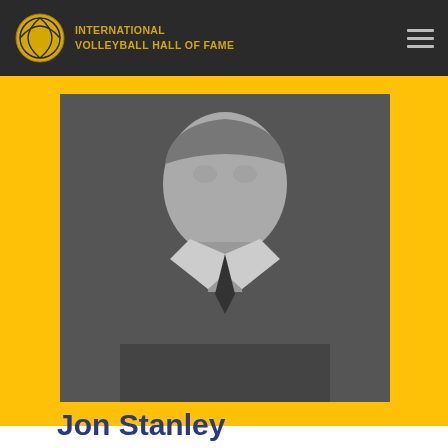INTERNATIONAL VOLLEYBALL HALL OF FAME
[Figure (photo): Black and white portrait photo of Jon Stanley wearing a suit and tie]
Jon Stanley
Born: July 6, 1943 in Bronx, New York (USA)
Enshrined: 1992
Country: United States
Category: Indoor Player